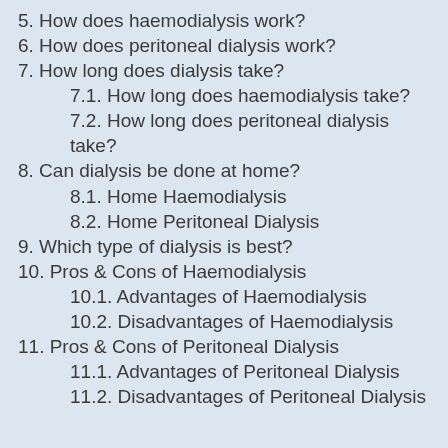5. How does haemodialysis work?
6. How does peritoneal dialysis work?
7. How long does dialysis take?
7.1. How long does haemodialysis take?
7.2. How long does peritoneal dialysis take?
8. Can dialysis be done at home?
8.1. Home Haemodialysis
8.2. Home Peritoneal Dialysis
9. Which type of dialysis is best?
10. Pros & Cons of Haemodialysis
10.1. Advantages of Haemodialysis
10.2. Disadvantages of Haemodialysis
11. Pros & Cons of Peritoneal Dialysis
11.1. Advantages of Peritoneal Dialysis
11.2. Disadvantages of Peritoneal Dialysis